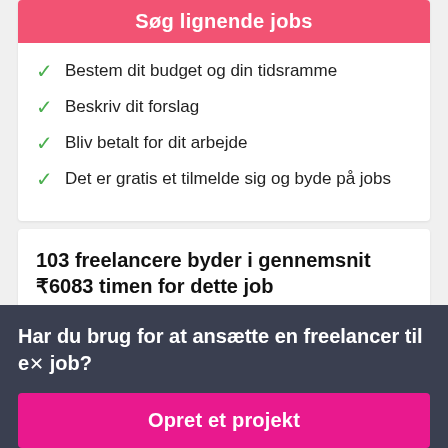Søg lignende jobs
Bestem dit budget og din tidsramme
Beskriv dit forslag
Bliv betalt for dit arbejde
Det er gratis et tilmelde sig og byde på jobs
103 freelancere byder i gennemsnit ₹6083 timen for dette job
Har du brug for at ansætte en freelancer til et job?
Opret et projekt